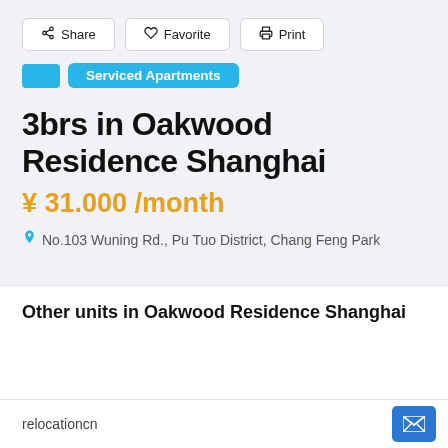Share  Favorite  Print
Serviced Apartments
3brs in Oakwood Residence Shanghai
¥ 31.000 /month
No.103 Wuning Rd., Pu Tuo District, Chang Feng Park
Other units in Oakwood Residence Shanghai
relocationcn